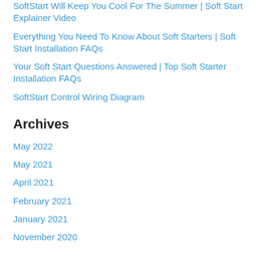SoftStart Will Keep You Cool For The Summer | Soft Start Explainer Video
Everything You Need To Know About Soft Starters | Soft Start Installation FAQs
Your Soft Start Questions Answered | Top Soft Starter Installation FAQs
SoftStart Control Wiring Diagram
Archives
May 2022
May 2021
April 2021
February 2021
January 2021
November 2020